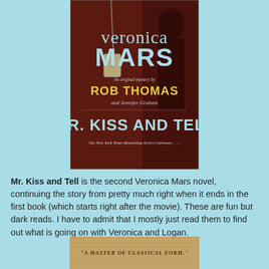[Figure (illustration): Book cover of 'Veronica Mars: Mr. Kiss and Tell' — An original mystery by Rob Thomas and Jennifer Graham. Dark reddish background with silhouette of a person, hotel key tag hanging on door. Text: veronica MARS, An original mystery by ROB THOMAS and Jennifer Graham, MR. KISS AND TELL, The New York Times Bestselling Series Continues . . . .]
Mr. Kiss and Tell is the second Veronica Mars novel, continuing the story from pretty much right when it ends in the first book (which starts right after the movie). These are fun but dark reads. I have to admit that I mostly just read them to find out what is going on with Veronica and Logan.
[Figure (illustration): Partial view of another book cover, bottom portion only visible, with text: 'A MASTER OF CLASSICAL FORM.']